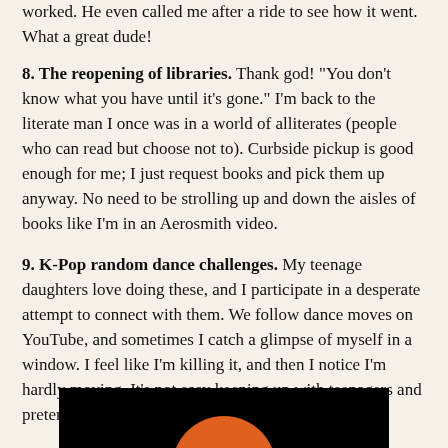worked. He even called me after a ride to see how it went. What a great dude!
8. The reopening of libraries. Thank god! "You don't know what you have until it's gone." I'm back to the literate man I once was in a world of alliterates (people who can read but choose not to). Curbside pickup is good enough for me; I just request books and pick them up anyway. No need to be strolling up and down the aisles of books like I'm in an Aerosmith video.
9. K-Pop random dance challenges. My teenage daughters love doing these, and I participate in a desperate attempt to connect with them. We follow dance moves on YouTube, and sometimes I catch a glimpse of myself in a window. I feel like I'm killing it, and then I notice I'm hardly moving. It's not easy keeping up with teenagers and pretending to be in the group Mamamoo.
10. My sand wedge. In July, I returned to golf, which is safe and socially distanced. I think I'm playing better pre-shutdown, for sure. My chipping, in particular, has been strong, and the golf course is one place that gives me a sense of normal.
[Figure (photo): Bottom portion of an image showing a dark background with an orange circular shape visible at the bottom, partially cropped.]